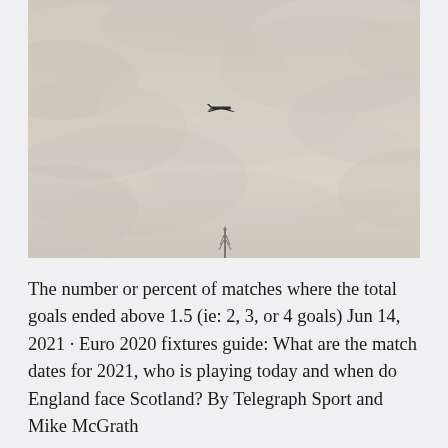[Figure (photo): A hazy overcast sky with light beige/grey cloud cover. A small airplane is visible in the center of the image flying through the clouds. At the bottom center of the image there is a faint structure (possibly an antenna or tower) silhouetted against the sky.]
The number or percent of matches where the total goals ended above 1.5 (ie: 2, 3, or 4 goals) Jun 14, 2021 · Euro 2020 fixtures guide: What are the match dates for 2021, who is playing today and when do England face Scotland? By Telegraph Sport and Mike McGrath